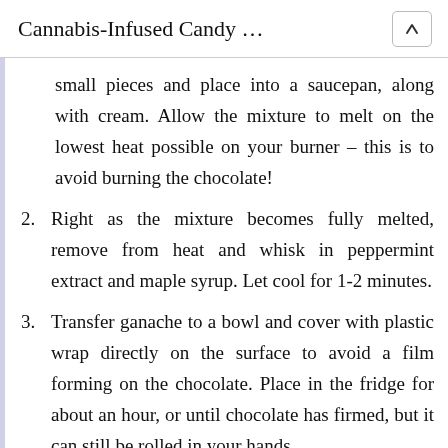Cannabis-Infused Candy …
small pieces and place into a saucepan, along with cream. Allow the mixture to melt on the lowest heat possible on your burner – this is to avoid burning the chocolate!
2. Right as the mixture becomes fully melted, remove from heat and whisk in peppermint extract and maple syrup. Let cool for 1-2 minutes.
3. Transfer ganache to a bowl and cover with plastic wrap directly on the surface to avoid a film forming on the chocolate. Place in the fridge for about an hour, or until chocolate has firmed, but it can still be rolled in your hands.